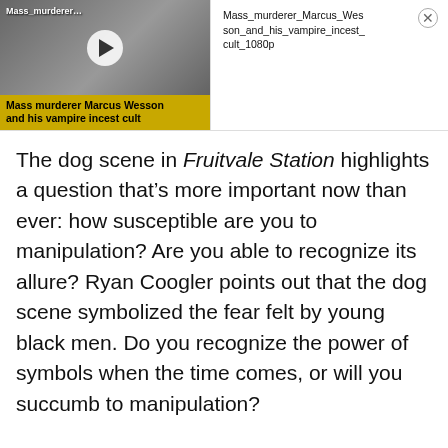[Figure (screenshot): Video thumbnail showing a grayscale image of a man with dreadlocks, a white play button circle in the center, text label 'Mass_murderer...' at top left, and a yellow banner at the bottom reading 'Mass murderer Marcus Wesson and his vampire incest cult']
Mass_murderer_Marcus_Wesson_and_his_vampire_incest_cult_1080p
The dog scene in Fruitvale Station highlights a question that’s more important now than ever: how susceptible are you to manipulation? Are you able to recognize its allure? Ryan Coogler points out that the dog scene symbolized the fear felt by young black men. Do you recognize the power of symbols when the time comes, or will you succumb to manipulation?